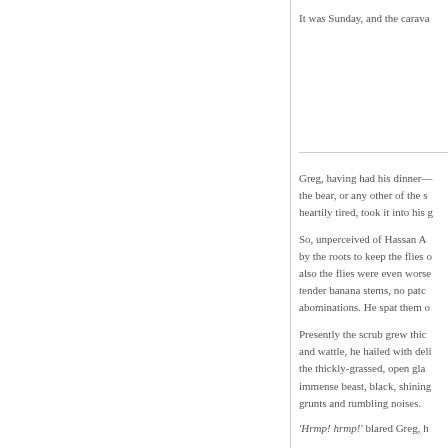It was Sunday, and the carava
Greg, having had his dinner— the bear, or any other of the s heartily tired, took it into his g
So, unperceived of Hassan A by the roots to keep the flies o also the flies were even worse tender banana stems, no patc abominations. He spat them o
Presently the scrub grew thic and wattle, he hailed with deli the thickly-grassed, open gla immense beast, black, shining grunts and rumbling noises.
'Hrmp! hrmp!' blared Greg, h